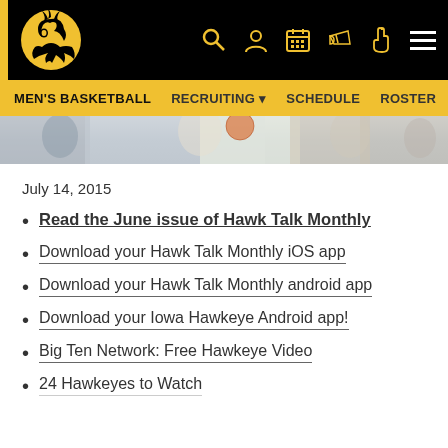Iowa Hawkeyes Men's Basketball - Navigation Header
MEN'S BASKETBALL  RECRUITING  SCHEDULE  ROSTER
[Figure (photo): Partial photo of basketball players/crowd at a game]
July 14, 2015
Read the June issue of Hawk Talk Monthly
Download your Hawk Talk Monthly iOS app
Download your Hawk Talk Monthly android app
Download your Iowa Hawkeye Android app!
Big Ten Network: Free Hawkeye Video
24 Hawkeyes to Watch